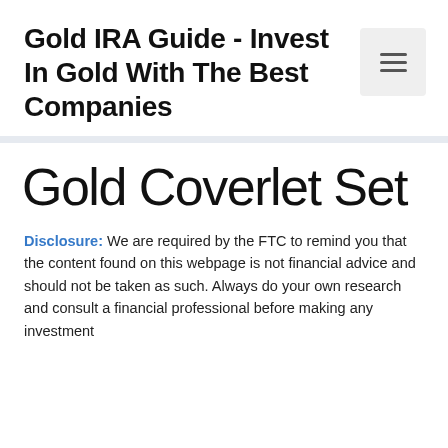Gold IRA Guide - Invest In Gold With The Best Companies
Gold Coverlet Set
Disclosure: We are required by the FTC to remind you that the content found on this webpage is not financial advice and should not be taken as such. Always do your own research and consult a financial professional before making any investment decisions. The success of this website...